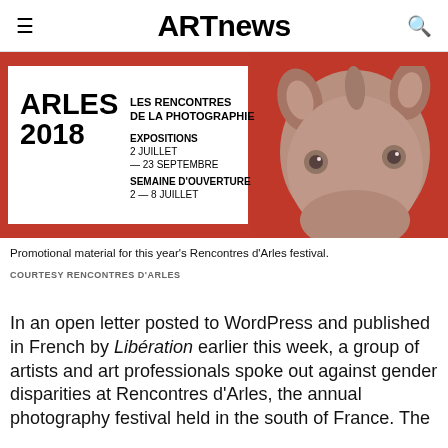ARTnews
[Figure (photo): Promotional image for Rencontres d'Arles 2018 festival showing text overlay on red background with a rhinoceros face. Text reads: ARLES 2018, LES RENCONTRES DE LA PHOTOGRAPHIE, EXPOSITIONS 2 JUILLET — 23 SEPTEMBRE, SEMAINE D'OUVERTURE 2 — 8 JUILLET]
Promotional material for this year’s Rencontres d’Arles festival.
COURTESY RENCONTRES D’ARLES
In an open letter posted to WordPress and published in French by Libération earlier this week, a group of artists and art professionals spoke out against gender disparities at Rencontres d’Arles, the annual photography festival held in the south of France. The